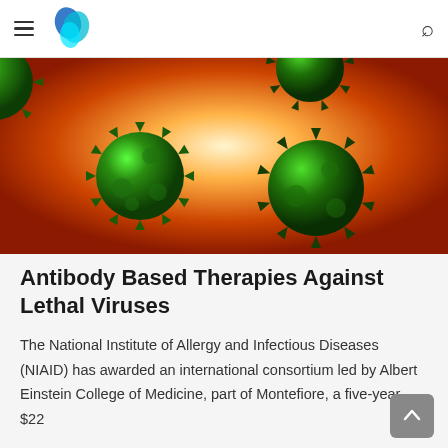[Navigation header with hamburger menu, logo, and search icon]
[Figure (photo): 3D rendered illustration of green virus particles with spiky surface proteins against an orange-red glowing background]
Antibody Based Therapies Against Lethal Viruses
The National Institute of Allergy and Infectious Diseases (NIAID) has awarded an international consortium led by Albert Einstein College of Medicine, part of Montefiore, a five-year, $22 million...